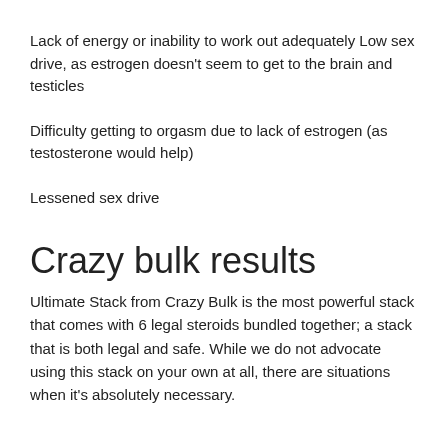Lack of energy or inability to work out adequately Low sex drive, as estrogen doesn't seem to get to the brain and testicles
Difficulty getting to orgasm due to lack of estrogen (as testosterone would help)
Lessened sex drive
Crazy bulk results
Ultimate Stack from Crazy Bulk is the most powerful stack that comes with 6 legal steroids bundled together; a stack that is both legal and safe. While we do not advocate using this stack on your own at all, there are situations when it's absolutely necessary.